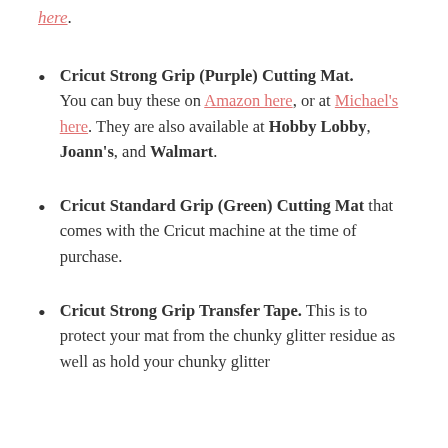here.
Cricut Strong Grip (Purple) Cutting Mat. You can buy these on Amazon here, or at Michael's here. They are also available at Hobby Lobby, Joann's, and Walmart.
Cricut Standard Grip (Green) Cutting Mat that comes with the Cricut machine at the time of purchase.
Cricut Strong Grip Transfer Tape. This is to protect your mat from the chunky glitter residue as well as hold your chunky glitter